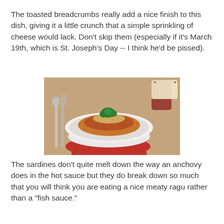The toasted breadcrumbs really add a nice finish to this dish, giving it a little crunch that a simple sprinkling of cheese would lack. Don't skip them (especially if it's March 19th, which is St. Joseph's Day -- I think he'd be pissed).
[Figure (photo): A white bowl of spaghetti with tomato sauce, breadcrumbs, and a fresh herb garnish on top, placed on a red napkin on a wooden table, with silverware beside it and a glass of red wine in the background.]
The sardines don't quite melt down the way an anchovy does in the hot sauce but they do break down so much that you will think you are eating a nice meaty ragu rather than a "fish sauce."